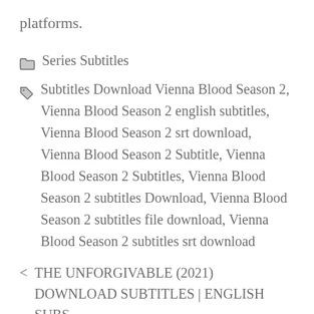platforms.
Series Subtitles
Subtitles Download Vienna Blood Season 2, Vienna Blood Season 2 english subtitles, Vienna Blood Season 2 srt download, Vienna Blood Season 2 Subtitle, Vienna Blood Season 2 Subtitles, Vienna Blood Season 2 subtitles Download, Vienna Blood Season 2 subtitles file download, Vienna Blood Season 2 subtitles srt download
< THE UNFORGIVABLE (2021) DOWNLOAD SUBTITLES | ENGLISH SUBS
> YOUNG JUSTICE SEASON 4 EPISODE 10 ENGLISH SUBTITLES DOWNLOAD